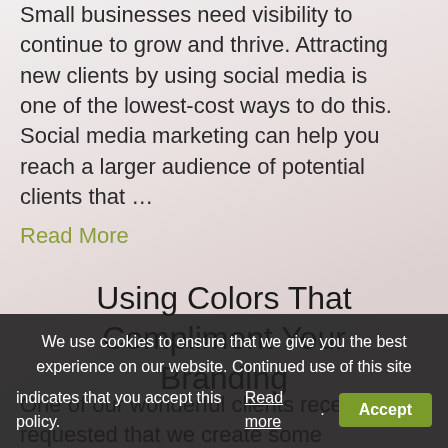Small businesses need visibility to continue to grow and thrive. Attracting new clients by using social media is one of the lowest-cost ways to do this. Social media marketing can help you reach a larger audience of potential clients that …
Read More
Using Colors That Compliment Your Branding
One of our wonderful clients recently requested that we create some graphics for their website
We use cookies to ensure that we give you the best experience on our website. Continued use of this site indicates that you accept this policy. Read more. Accept